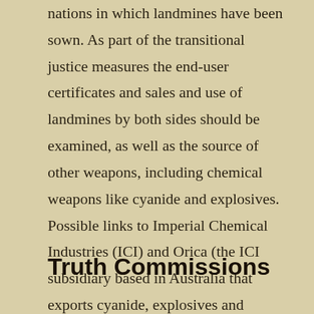it or Linda compared well with the situation in other nations in which landmines have been sown. As part of the transitional justice measures the end-user certificates and sales and use of landmines by both sides should be examined, as well as the source of other weapons, including chemical weapons like cyanide and explosives. Possible links to Imperial Chemical Industries (ICI) and Orica (the ICI subsidiary based in Australia that exports cyanide, explosives and electronic detonators) should be explored as part of the investigation into the truth about the war and who profited from it.
Truth Commissions